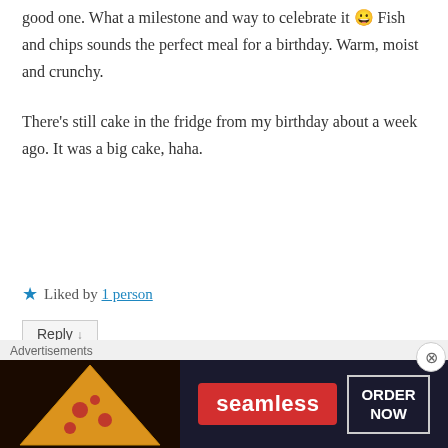good one. What a milestone and way to celebrate it 😀 Fish and chips sounds the perfect meal for a birthday. Warm, moist and crunchy.
There's still cake in the fridge from my birthday about a week ago. It was a big cake, haha.
★ Liked by 1 person
Reply ↓
andysmerdon on 10 May 2017 at 6:48 PM said:
[Figure (photo): User avatar portrait photo of andysmerdon, a circular thumbnail]
Advertisements
[Figure (illustration): Seamless food delivery advertisement banner with pizza imagery, Seamless logo and ORDER NOW button]